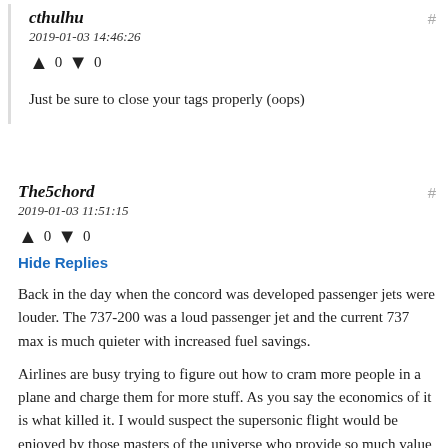cthulhu
2019-01-03 14:46:26
↑ 0 ↓ 0
Just be sure to close your tags properly (oops)
The5chord
2019-01-03 11:51:15
↑ 0 ↓ 0
Hide Replies
Back in the day when the concord was developed passenger jets were louder. The 737‑200 was a loud passenger jet and the current 737 max is much quieter with increased fuel savings.
Airlines are busy trying to figure out how to cram more people in a plane and charge them for more stuff. As you say the economics of it is what killed it. I would suspect the supersonic flight would be enjoyed by those masters of the universe who provide so much value to our economy like the Delta CEO who